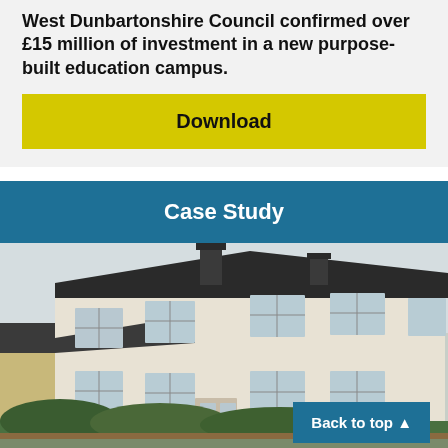West Dunbartonshire Council confirmed over £15 million of investment in a new purpose-built education campus.
Download
Case Study
[Figure (photo): Exterior photograph of a two-storey residential building with white/cream render, dark slate roof, chimneys, and front garden hedgerow. Blue sky background.]
Back to top ▲